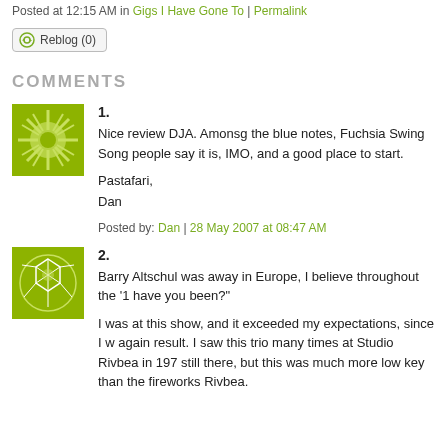Posted at 12:15 AM in Gigs I Have Gone To | Permalink
[Figure (other): Reblog (0) button]
COMMENTS
1. Nice review DJA. Amonsg the blue notes, Fuchsia Swing Song people say it is, IMO, and a good place to start.

Pastafari,
Dan

Posted by: Dan | 28 May 2007 at 08:47 AM
2. Barry Altschul was away in Europe, I believe throughout the '1 have you been?"

I was at this show, and it exceeded my expectations, since I w again result. I saw this trio many times at Studio Rivbea in 197 still there, but this was much more low key than the fireworks Rivbea.